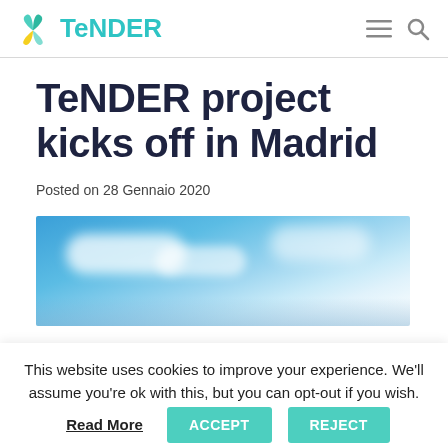TeNDER
TeNDER project kicks off in Madrid
Posted on 28 Gennaio 2020
[Figure (photo): Sky with clouds, blue and white tones]
This website uses cookies to improve your experience. We'll assume you're ok with this, but you can opt-out if you wish.
Read More  ACCEPT  REJECT